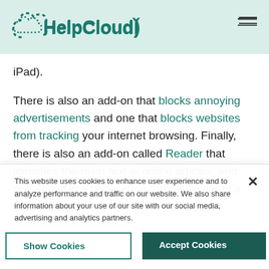[Figure (logo): HelpCloud logo with teal cloud icon and HelpCloud text in teal]
iPad).
There is also an add-on that blocks annoying advertisements and one that blocks websites from tracking your internet browsing. Finally, there is also an add-on called Reader that identifies the main text in online articles, and presents it in a large, clear format similar to a printed page.
This website uses cookies to enhance user experience and to analyze performance and traffic on our website. We also share information about your use of our site with our social media, advertising and analytics partners.
Show Cookies
Accept Cookies